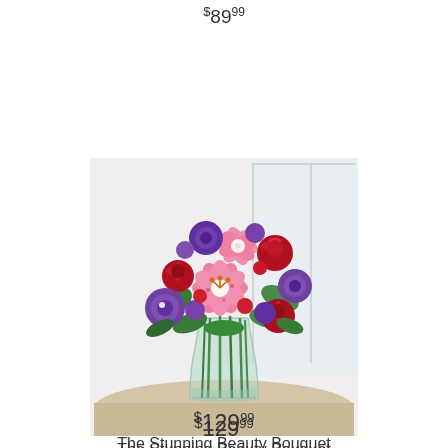$89.99
[Figure (photo): A flower bouquet in a glass vase on a wooden table. The bouquet contains stargazer lilies (pink with white), red roses, purple lisianthus, and other purple and red flowers with green foliage. The background is a bright white room with a window.]
The Stunning Beauty Bouquet
$129.99